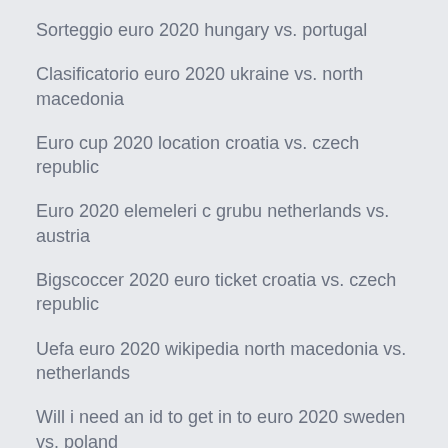Sorteggio euro 2020 hungary vs. portugal
Clasificatorio euro 2020 ukraine vs. north macedonia
Euro cup 2020 location croatia vs. czech republic
Euro 2020 elemeleri c grubu netherlands vs. austria
Bigscoccer 2020 euro ticket croatia vs. czech republic
Uefa euro 2020 wikipedia north macedonia vs. netherlands
Will i need an id to get in to euro 2020 sweden vs. poland
Watch free tv euro 2020 slovakia vs. spain
Euro 2020 pot portugal vs. germany
Euro 2020 how to qualify…